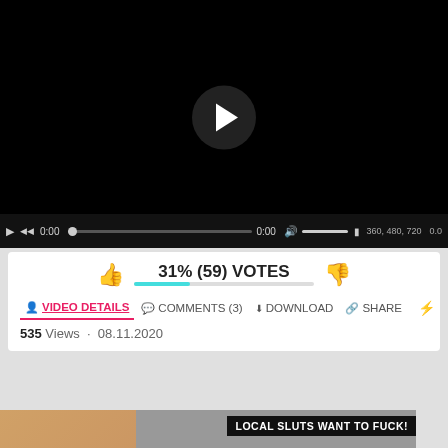[Figure (screenshot): Video player with black background, circular play button in center, and playback controls at bottom including play, rewind, time display 0:00, progress bar, volume, quality options 360/480/720, and 0.0 indicator]
31% (59) VOTES
VIDEO DETAILS   COMMENTS (3)   DOWNLOAD   SHARE
535 Views · 08.11.2020
[Figure (photo): Advertisement banner showing a blonde woman on the left and another image on the right with text LOCAL SLUTS WANT TO FUCK!]